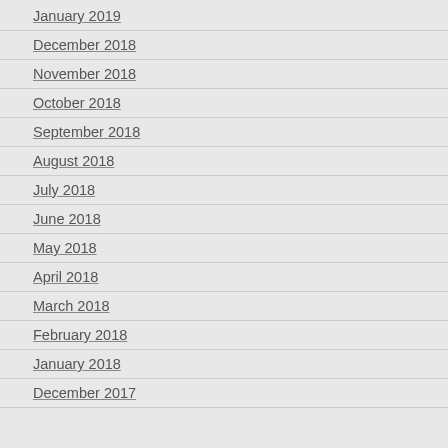January 2019
December 2018
November 2018
October 2018
September 2018
August 2018
July 2018
June 2018
May 2018
April 2018
March 2018
February 2018
January 2018
December 2017